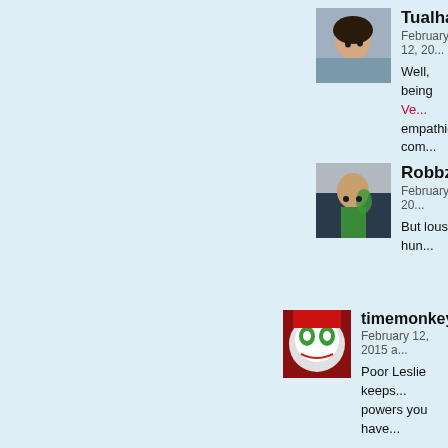[Figure (photo): Anime avatar of Tualha — dark-haired character in gray shirt]
Tualha
February 12, 20...
Well, being Ve... empathic com...
[Figure (photo): Avatar of Robbzilla — person in green outfit]
Robbzilla
February 12, 20...
But lousy hun...
[Figure (photo): Avatar of timemonkey — clown/mask character]
timemonkey
February 12, 2015 a...
Poor Leslie keeps... powers you have...
[Figure (illustration): Avatar of ChocolateRat — cartoon illustration of smiling character with cap]
ChocolateRat
February 12, 2015 at 12:04 am | #
This storyline has been really intere... lot.
Also Leslie I always vote for you in...